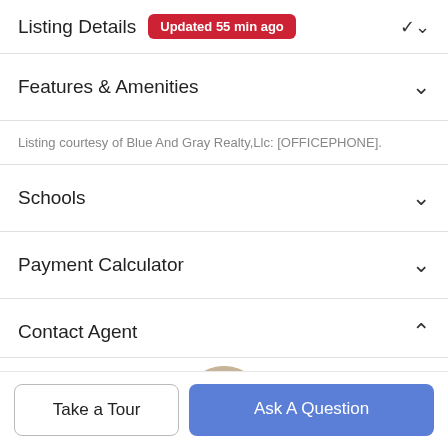Listing Details Updated 55 min ago
Features & Amenities
Listing courtesy of Blue And Gray Realty,Llc: [OFFICEPHONE].
Schools
Payment Calculator
Contact Agent
[Figure (photo): Circular profile photo of a male real estate agent wearing glasses, smiling, with short brown hair.]
Take a Tour
Ask A Question